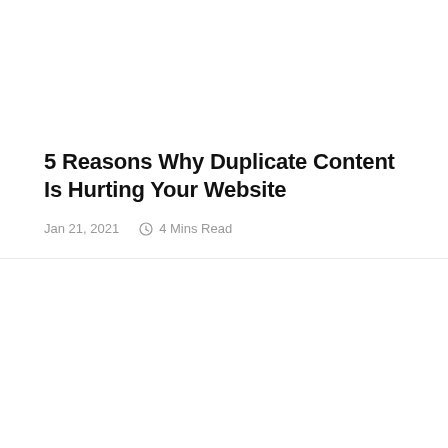5 Reasons Why Duplicate Content Is Hurting Your Website
Jan 21, 2021    4 Mins Read